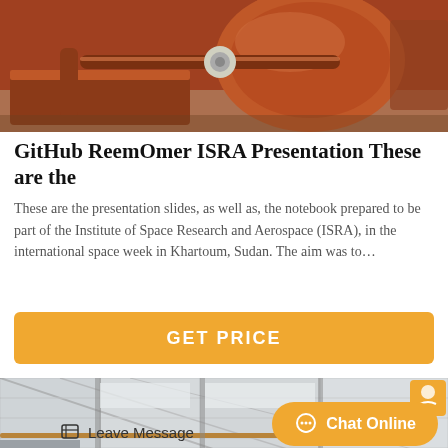[Figure (photo): Close-up photo of rusty orange-brown industrial machinery, appears to be a large mechanical drum or rotary equipment with metal shafts and frame on a concrete floor.]
GitHub ReemOmer ISRA Presentation These are the
These are the presentation slides, as well as, the notebook prepared to be part of the Institute of Space Research and Aerospace (ISRA), in the international space week in Khartoum, Sudan. The aim was to…
[Figure (other): GET PRICE orange button]
[Figure (photo): Interior industrial photo showing roof structure with metal grid framework, pipes, and lighting from below, with a small yellow icon in the top right corner.]
Leave Message
Chat Online